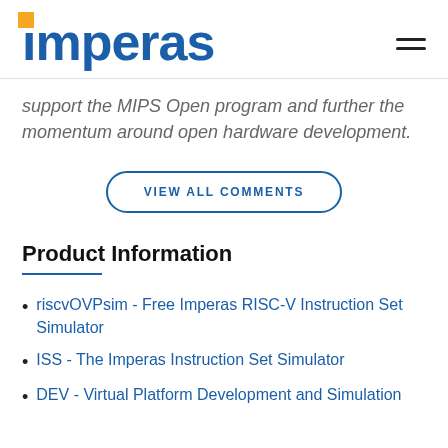imperas
support the MIPS Open program and further the momentum around open hardware development.
VIEW ALL COMMENTS
Product Information
riscvOVPsim - Free Imperas RISC-V Instruction Set Simulator
ISS - The Imperas Instruction Set Simulator
DEV - Virtual Platform Development and Simulation